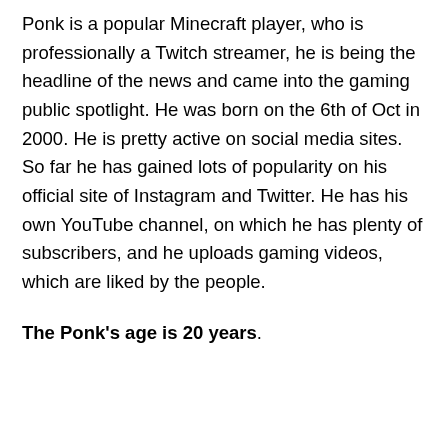Ponk is a popular Minecraft player, who is professionally a Twitch streamer, he is being the headline of the news and came into the gaming public spotlight. He was born on the 6th of Oct in 2000. He is pretty active on social media sites. So far he has gained lots of popularity on his official site of Instagram and Twitter. He has his own YouTube channel, on which he has plenty of subscribers, and he uploads gaming videos, which are liked by the people.
The Ponk's age is 20 years.